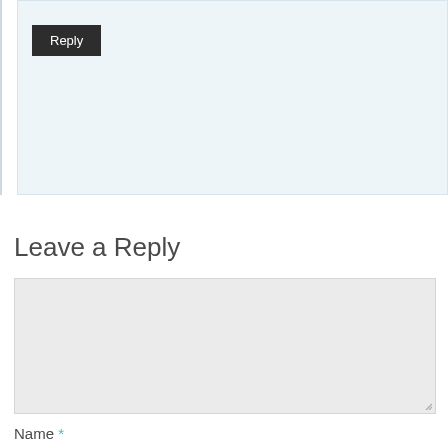[Figure (screenshot): A Reply button rendered as a dark rectangle with white text on a light blue comment section background]
Leave a Reply
[Figure (screenshot): An empty gray textarea input box with a resize handle in the bottom-right corner]
Name *